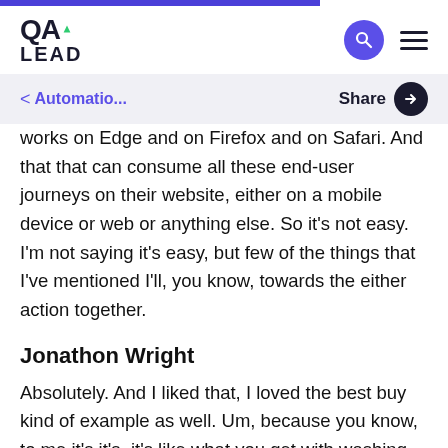QA LEAD
< Automatio...    Share
works on Edge and on Firefox and on Safari. And that that can consume all these end-user journeys on their website, either on a mobile device or web or anything else. So it's not easy. I'm not saying it's easy, but few of the things that I've mentioned I'll, you know, towards the either action together.
Jonathon Wright
Absolutely. And I liked that, I loved the best buy kind of example as well. Um, because you know, to me it's it's, it's like what you get with washing machines and stuff.